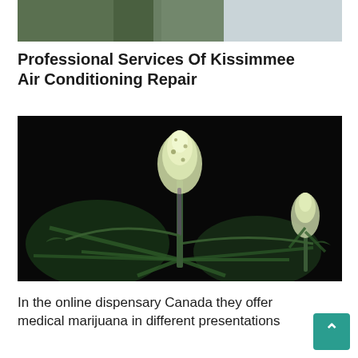[Figure (photo): Partial photo of a person wearing an olive/dark green top, cropped showing lower body/arm area against a light grey background]
Professional Services Of Kissimmee Air Conditioning Repair
[Figure (photo): Close-up photograph of cannabis/marijuana plants with buds against a dark black background, showing detailed flower structures and green leaves]
In the online dispensary Canada they offer medical marijuana in different presentations